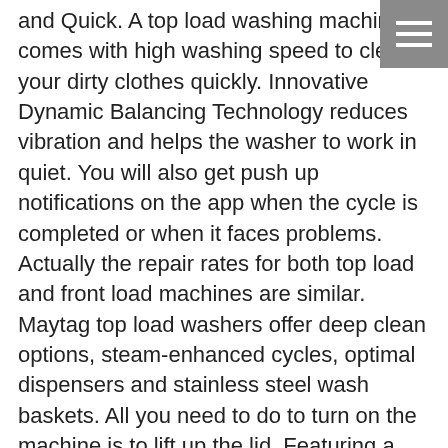and Quick. A top load washing machine comes with high washing speed to clean your dirty clothes quickly. Innovative Dynamic Balancing Technology reduces vibration and helps the washer to work in quiet. You will also get push up notifications on the app when the cycle is completed or when it faces problems. Actually the repair rates for both top load and front load machines are similar. Maytag top load washers offer deep clean options, steam-enhanced cycles, optimal dispensers and stainless steel wash baskets. All you need to do to turn on the machine is to lift up the lid. Featuring a large capacity, this washer is capable of handling up to 2.7 cb.ft. Even with its short cycle times, it removed most major stains in our tests. You can control your washing machine by using an app from your Smartphone. ft. Top Load Washer has extra large